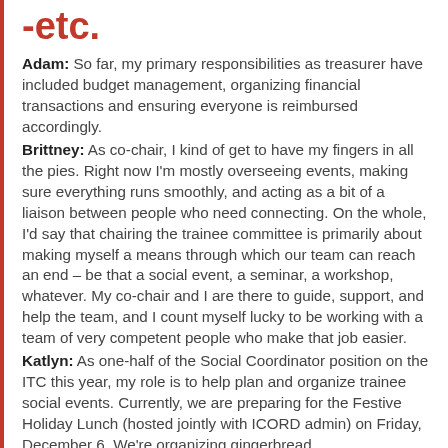-etc.
Adam: So far, my primary responsibilities as treasurer have included budget management, organizing financial transactions and ensuring everyone is reimbursed accordingly.
Brittney: As co-chair, I kind of get to have my fingers in all the pies. Right now I'm mostly overseeing events, making sure everything runs smoothly, and acting as a bit of a liaison between people who need connecting. On the whole, I'd say that chairing the trainee committee is primarily about making myself a means through which our team can reach an end – be that a social event, a seminar, a workshop, whatever. My co-chair and I are there to guide, support, and help the team, and I count myself lucky to be working with a team of very competent people who make that job easier.
Katlyn: As one-half of the Social Coordinator position on the ITC this year, my role is to help plan and organize trainee social events. Currently, we are preparing for the Festive Holiday Lunch (hosted jointly with ICORD admin) on Friday, December 6. We're organizing gingerbread